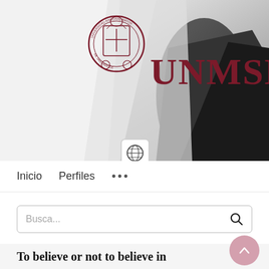[Figure (logo): UNMSM university banner with coat of arms crest and UNMSM text in dark red on grey background with person wearing white clothing]
Inicio   Perfiles   ...
Busca...
To believe or not to believe in